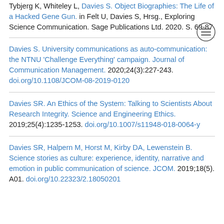Tybjerg K, Whiteley L, Davies S. Object Biographies: The Life of a Hacked Gene Gun. in Felt U, Davies S, Hrsg., Exploring Science Communication. Sage Publications Ltd. 2020. S. 69-87
Davies S. University communications as auto-communication: the NTNU 'Challenge Everything' campaign. Journal of Communication Management. 2020;24(3):227-243. doi.org/10.1108/JCOM-08-2019-0120
Davies SR. An Ethics of the System: Talking to Scientists About Research Integrity. Science and Engineering Ethics. 2019;25(4):1235-1253. doi.org/10.1007/s11948-018-0064-y
Davies SR, Halpern M, Horst M, Kirby DA, Lewenstein B. Science stories as culture: experience, identity, narrative and emotion in public communication of science. JCOM. 2019;18(5). A01. doi.org/10.22323/2.18050201